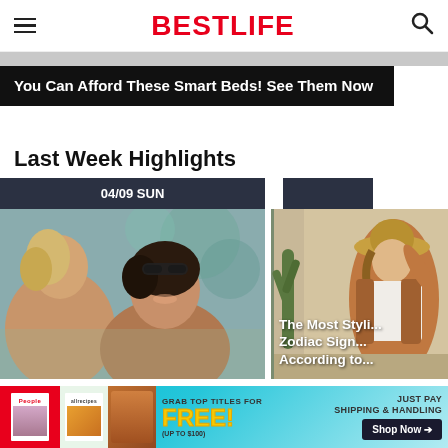BestLife
You Can Afford These Smart Beds! See Them Now
Last Week Highlights
04/09 SUN
[Figure (photo): Two women talking and laughing outdoors]
[Figure (photo): Woman in hat and brown jacket outdoors near cactus with text overlay: The Most Styli... Zodiac Sign... According to...]
[Figure (infographic): Bottom advertisement banner: Grab top titles for FREE! (up to $100) Just Pay Shipping & Handling. Shop Now arrow. People and allrecipes magazine covers shown.]